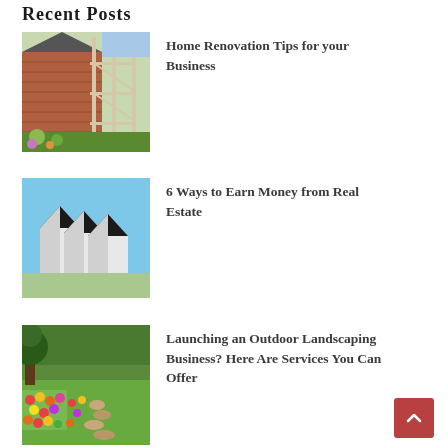Recent Posts
[Figure (photo): House with scaffolding on the exterior, renovation in progress, brick facade visible with flowers in foreground]
Home Renovation Tips for your Business
[Figure (photo): Row of modern black-roofed triangular beach houses against a bright blue sky]
6 Ways to Earn Money from Real Estate
[Figure (photo): Colorful garden with tulips and flowers along a stone path, trees in background]
Launching an Outdoor Landscaping Business? Here Are Services You Can Offer